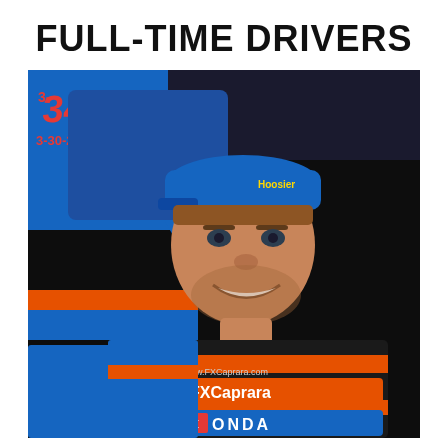FULL-TIME DRIVERS
[Figure (photo): A smiling male race car driver wearing a black and orange racing suit with FXCaprara Honda sponsorship logos, and a blue cap. He is standing in front of a blue race car with the number 34 and markings including '3-30-2k'. The racing suit prominently displays 'FXCaprara' and 'HONDA' sponsor logos. Text on car includes 'S PERFOR' (partial) and 'www.FXCaprara.com'.]